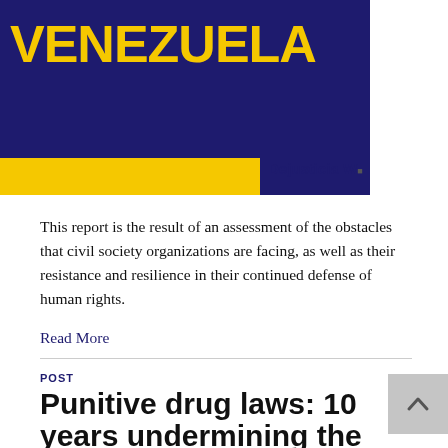[Figure (illustration): Banner image with dark navy background showing 'VENEZUELA' text in bold yellow letters, a yellow strip at the bottom left, and 'Dejusticia W' logos on the right side]
This report is the result of an assessment of the obstacles that civil society organizations are facing, as well as their resistance and resilience in their continued defense of human rights.
Read More
POST
Punitive drug laws: 10 years undermining the Bangkok Rules
By Dejusticia | February 10, 2021